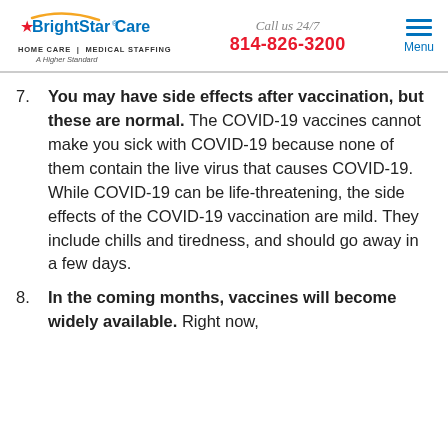BrightStar Care | HOME CARE | MEDICAL STAFFING | A Higher Standard | Call us 24/7 | 814-826-3200 | Menu
7. You may have side effects after vaccination, but these are normal. The COVID-19 vaccines cannot make you sick with COVID-19 because none of them contain the live virus that causes COVID-19. While COVID-19 can be life-threatening, the side effects of the COVID-19 vaccination are mild. They include chills and tiredness, and should go away in a few days.
8. In the coming months, vaccines will become widely available. Right now,